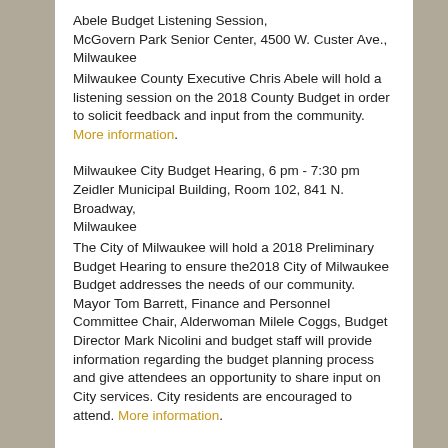Abele Budget Listening Session, McGovern Park Senior Center, 4500 W. Custer Ave., Milwaukee
Milwaukee County Executive Chris Abele will hold a listening session on the 2018 County Budget in order to solicit feedback and input from the community. More information.
Milwaukee City Budget Hearing, 6 pm - 7:30 pm Zeidler Municipal Building, Room 102, 841 N. Broadway, Milwaukee
The City of Milwaukee will hold a 2018 Preliminary Budget Hearing to ensure the2018 City of Milwaukee Budget addresses the needs of our community. Mayor Tom Barrett, Finance and Personnel Committee Chair, Alderwoman Milele Coggs, Budget Director Mark Nicolini and budget staff will provide information regarding the budget planning process and give attendees an opportunity to share input on City services. City residents are encouraged to attend. More information.